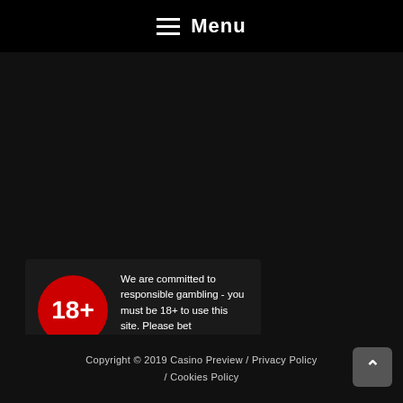Menu
We are committed to responsible gambling - you must be 18+ to use this site. Please bet responsibly.
Copyright © 2019 Casino Preview / Privacy Policy / Cookies Policy